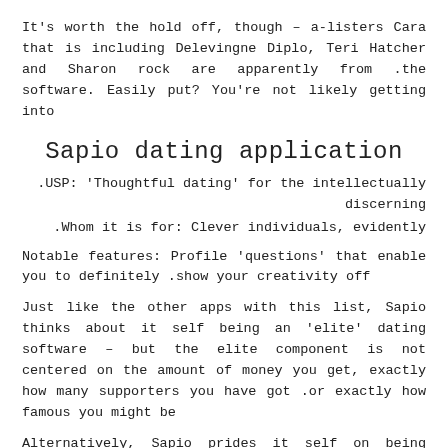It's worth the hold off, though – a-listers Cara that is including Delevingne Diplo, Teri Hatcher and Sharon rock are apparently from the software. Easily put? You're not likely getting into.
Sapio dating application
.USP: 'Thoughtful dating' for the intellectually discerning
.Whom it is for: Clever individuals, evidently
Notable features: Profile 'questions' that enable you to definitely show your creativity off.
Just like the other apps with this list, Sapio thinks about it self being an 'elite' dating software – but the elite component is not centered on the amount of money you get, exactly how many supporters you have got or exactly how famous you might be.
Alternatively, Sapio prides it self on being truly a app that is dating the bright sparks around the globe – 'Sapiosexuals' whom say they find